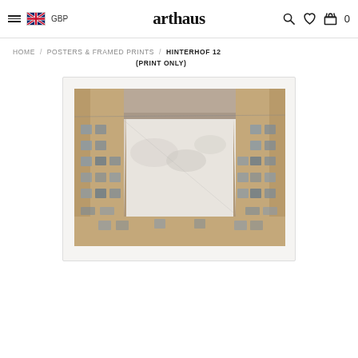≡  🇬🇧 GBP    arthaus    🔍 ♡ 🛍 0
HOME / POSTERS & FRAMED PRINTS / HINTERHOF 12 (PRINT ONLY)
[Figure (photo): Upward-looking photograph of a courtyard surrounded by old European apartment buildings with sandy/golden walls and many windows. The sky is visible through the square opening above.]